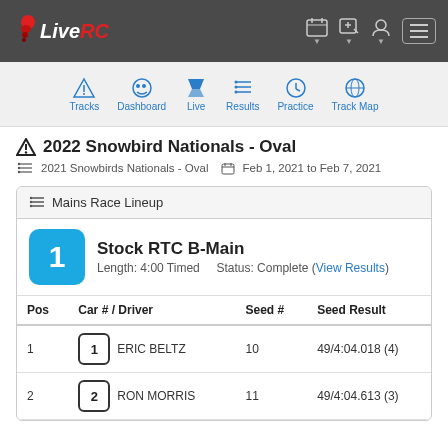LiveRC
2022 Snowbird Nationals - Oval
2021 Snowbirds Nationals - Oval  Feb 1, 2021 to Feb 7, 2021
Mains Race Lineup
1  Stock RTC B-Main  Length: 4:00 Timed  Status: Complete (View Results)
| Pos | Car # / Driver | Seed # | Seed Result |
| --- | --- | --- | --- |
| 1 | 1  ERIC BELTZ | 10 | 49/4:04.018 (4) |
| 2 | 2  RON MORRIS | 11 | 49/4:04.613 (3) |